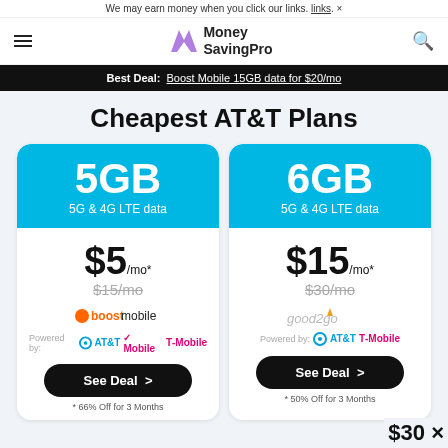We may earn money when you click our links. ×
[Figure (logo): MoneySavingPro logo with purple M icon]
Best Deal: Boost Mobile 15GB data for $20/mo
Cheapest AT&T Plans
| 5GB Plan | 6GB Plan |
| --- | --- |
| 5G & 4G LTE data | 5G & 4G LTE data |
| $5/mo* | $15/mo* |
| $15/mo | $30/mo |
| boost mobile | good2go |
| Powered by: AT&T T-Mobile | Powered by: AT&T T-Mobile |
| See Deal > | See Deal > |
| * 66% Off for 3 Months | * 50% Off for 3 Months |